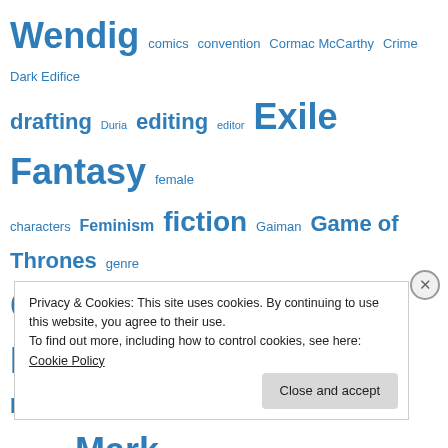[Figure (other): Tag cloud of blog/writing-related tags in various sizes and shades of blue. Tags include: Wendig, comics, convention, Cormac McCarthy, Crime, Dark Edifice, drafting, Duria, editing, editor, Exile, Fantasy, female characters, Feminism, fiction, Gaiman, Game of Thrones, genre, Genrecon, goals, Grimdark, GRR Martin, Harry Potter, Hunger Games, Jay Kristoff, Kameron Hurley, LoTR, Mark Lawrence, Mieville, milestone, NaNoWriMo, Neil Gaiman, Nietzsche, Noir, Novel, Peter M Ball, pitching, plans, progress, publish]
Privacy & Cookies: This site uses cookies. By continuing to use this website, you agree to their use.
To find out more, including how to control cookies, see here: Cookie Policy